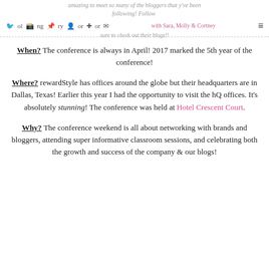amazing to meet so many of the bloggers that you been following! Follow along with Sara, Molly & Cortney and be sure to check out their blogs!!
When? The conference is always in April! 2017 marked the 5th year of the conference!
Where? rewardStyle has offices around the globe but their headquarters are in Dallas, Texas! Earlier this year I had the opportunity to visit the hQ offices. It's absolutely stunning! The conference was held at Hotel Crescent Court.
Why? The conference weekend is all about networking with brands and bloggers, attending super informative classroom sessions, and celebrating both the growth and success of the company & our blogs!